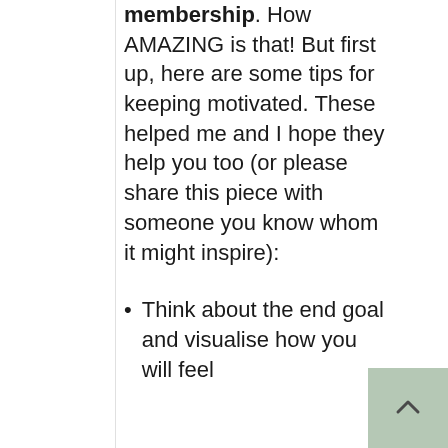membership. How AMAZING is that! But first up, here are some tips for keeping motivated. These helped me and I hope they help you too (or please share this piece with someone you know whom it might inspire):
Think about the end goal and visualise how you will feel